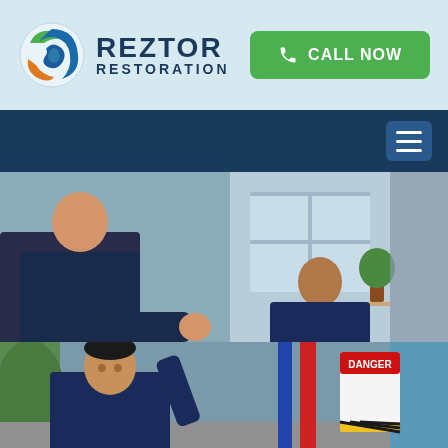[Figure (logo): Reztor Restoration logo with circular bird/flame icon in blue, green, and orange]
REZTOR RESTORATION
[Figure (other): Green Call Now button with phone icon]
[Figure (other): Dark blue navigation bar with hamburger menu icon on the right]
[Figure (photo): Photo of restoration technicians working with equipment in a home]
24/7 Emergency Service
[Figure (photo): Photo of a smiling young male technician in uniform near a danger sign]